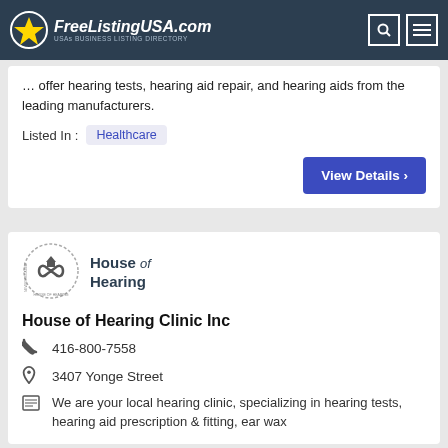FreeListingUSA.com — USAs BUSINESS LISTING DIRECTORY
Welcome to Test Hearing of West Virginia, where we offer hearing tests, hearing aid repair, and hearing aids from the leading manufacturers.
Listed In: Healthcare
View Details ›
[Figure (logo): House of Hearing circular logo]
House of Hearing Clinic Inc
416-800-7558
3407 Yonge Street
We are your local hearing clinic, specializing in hearing tests, hearing aid prescription & fitting, ear wax